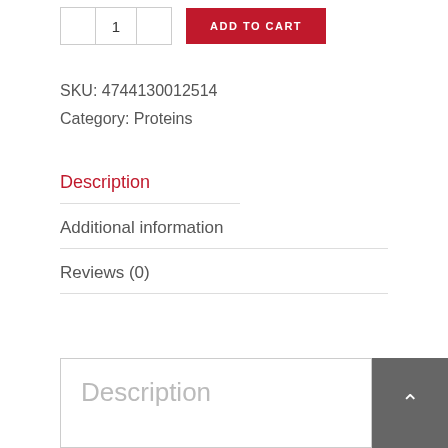[Figure (screenshot): Add to cart UI with quantity selector buttons and red ADD TO CART button]
SKU: 4744130012514
Category: Proteins
Description
Additional information
Reviews (0)
Description